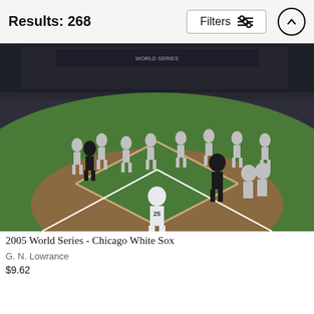Results: 268
[Figure (photo): Baseball game photo: 2005 World Series celebration on the field, Chicago White Sox players running and celebrating on the diamond, player #25 in foreground facing away]
2005 World Series - Chicago White Sox
G. N. Lowrance
$9.62
[Figure (photo): Thumbnail: baseball player with bat, wearing dark uniform and helmet]
[Figure (photo): Thumbnail: baseball player in light uniform, outdoor stadium]